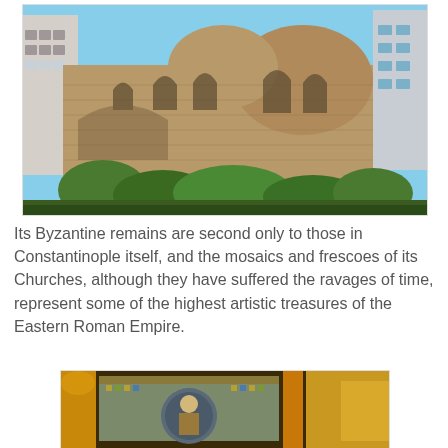[Figure (photo): Exterior view of a Byzantine church building with stone walls, arched windows, and apse, surrounded by modern apartment buildings and vegetation.]
Its Byzantine remains are second only to those in Constantinople itself, and the mosaics and frescoes of its Churches, although they have suffered the ravages of time, represent some of the highest artistic treasures of the Eastern Roman Empire.
[Figure (photo): Interior photo of a Byzantine church showing decorative mosaic panels with a figure, ornate columns, and golden architectural details.]